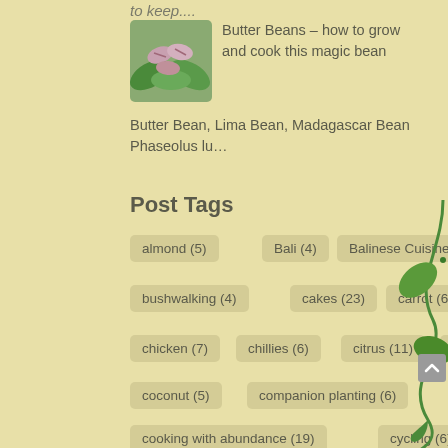to keep....
[Figure (photo): Photo of butter beans in green leaves in a bowl]
Butter Beans – how to grow and cook this magic bean Butter Bean, Lima Bean, Madagascar Bean Phaseolus lu...
Post Tags
almond (5)
Bali (4)
Balinese Cuisine (5)
bushwalking (4)
cakes (23)
carrot (6)
chicken (7)
chillies (6)
citrus (11)
climbers (5)
coconut (5)
companion planting (6)
cooking with abundance (19)
cycling (6)
dessert (13)
dips (7)
fragrant flowers (4)